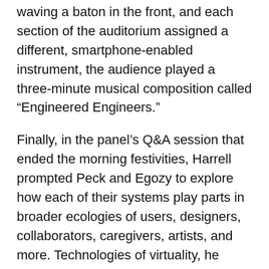waving a baton in the front, and each section of the auditorium assigned a different, smartphone-enabled instrument, the audience played a three-minute musical composition called “Engineered Engineers.”
Finally, in the panel’s Q&A session that ended the morning festivities, Harrell prompted Peck and Egozy to explore how each of their systems play parts in broader ecologies of users, designers, collaborators, caregivers, artists, and more. Technologies of virtuality, he asserted, are not panaceas on their own, but can act within networks of people and systems to serve the greater good.
Afternoon expo and workshops
The festival also featured 26 exhibits developed by